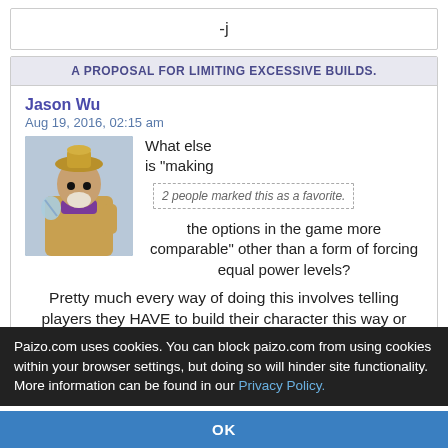-j
A PROPOSAL FOR LIMITING EXCESSIVE BUILDS.
Jason Wu
Aug 19, 2016, 02:15 am
2 people marked this as a favorite.
What else is "making the options in the game more comparable" other than a form of forcing equal power levels?
Pretty much every way of doing this involves telling players they HAVE to build their character this way or that way.
Paizo.com uses cookies. You can block paizo.com from using cookies within your browser settings, but doing so will hinder site functionality. More information can be found in our Privacy Policy.
OK